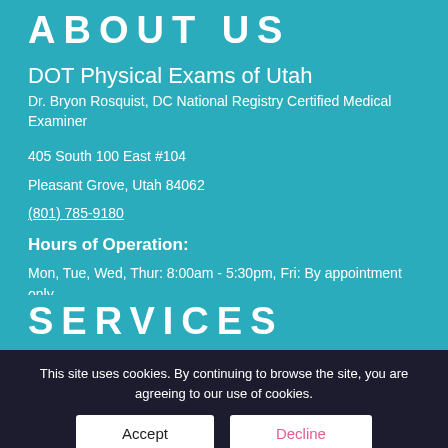ABOUT US
DOT Physical Exams of Utah
Dr. Bryon Rosquist, DC National Registry Certified Medical Examiner
405 South 100 East #104
Pleasant Grove, Utah 84062
(801) 785-9180
Hours of Operation:
Mon, Tue, Wed, Thur: 8:00am - 5:30pm, Fri: By appointment only
SERVICES
DOT Physical Exam for Commercial Drivers (CDL Physical Exam)
FAA BasicMed Exam
DOT Drug Testing
DOT Alcohol Testing
This site uses cookies. By continuing to browse the site, you are agreeing to our use of cookies.